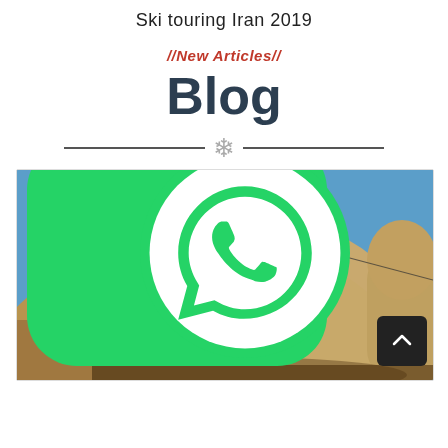Ski touring Iran 2019
//New Articles//
Blog
[Figure (photo): Photograph of ancient cave dwellings carved into large rock formations, with a blue sky background. A WhatsApp 'Need Help? Chat with us' button overlays the bottom-left, and a scroll-to-top arrow button overlays the bottom-right.]